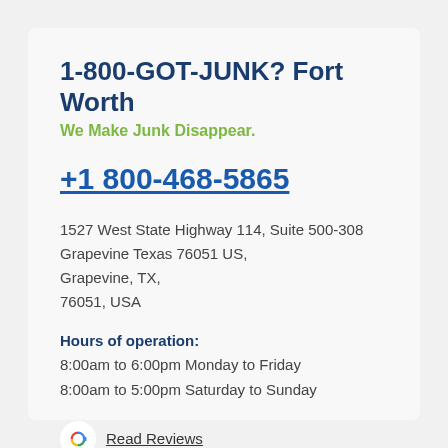1-800-GOT-JUNK? Fort Worth
We Make Junk Disappear.
+1 800-468-5865
1527 West State Highway 114, Suite 500-308
Grapevine Texas 76051 US,
Grapevine, TX,
76051, USA
Hours of operation:
8:00am to 6:00pm Monday to Friday
8:00am to 5:00pm Saturday to Sunday
Read Reviews